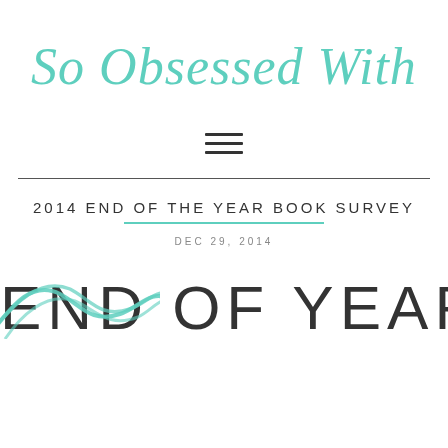So Obsessed With
[Figure (illustration): Hamburger/menu icon with three horizontal lines]
2014 END OF THE YEAR BOOK SURVEY
DEC 29, 2014
[Figure (other): Large decorative text reading END OF YEAR with teal script flourish overlay at the bottom]